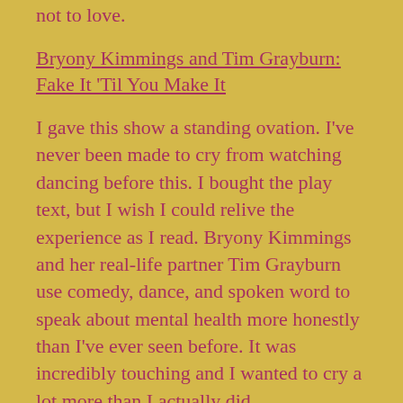not to love.
Bryony Kimmings and Tim Grayburn: Fake It 'Til You Make It
I gave this show a standing ovation. I've never been made to cry from watching dancing before this. I bought the play text, but I wish I could relive the experience as I read. Bryony Kimmings and her real-life partner Tim Grayburn use comedy, dance, and spoken word to speak about mental health more honestly than I've ever seen before. It was incredibly touching and I wanted to cry a lot more than I actually did.
Sophia Walker: Can't Care, Won't Care
An insight into the care industry through a legal battle between the state and the carer. This shows